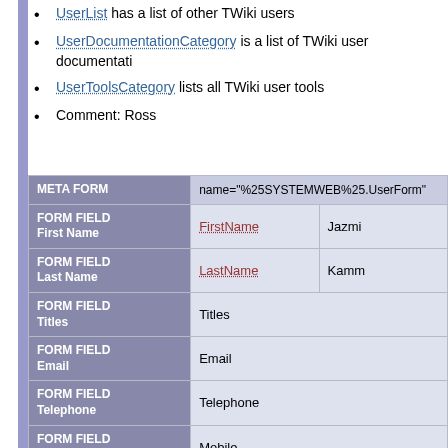UserList has a list of other TWiki users
UserDocumentationCategory is a list of TWiki user documentati…
UserToolsCategory lists all TWiki user tools
Comment: Ross
| META FORM | name="%25SYSTEMWEB%25.UserForm" |  |
| --- | --- | --- |
| FORM FIELD
First Name | FirstName | Jazmi |
| FORM FIELD
Last Name | LastName | Kamm |
| FORM FIELD
Titles | Titles |  |
| FORM FIELD
Email | Email |  |
| FORM FIELD
Telephone | Telephone |  |
| FORM FIELD
Mobile | Mobile |  |
| FORM FIELD
Skype ID | SkypeID |  |
| FORM FIELD
Department | Department |  |
| FORM FIELD
Organization | Organization | Jacob |